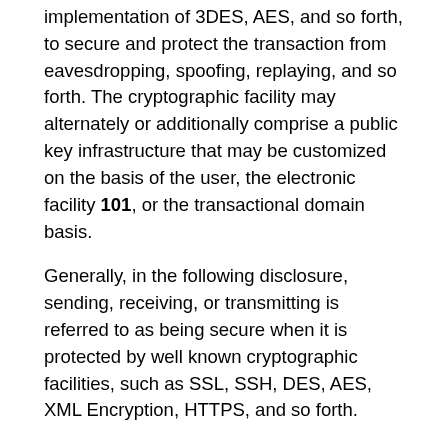implementation of 3DES, AES, and so forth, to secure and protect the transaction from eavesdropping, spoofing, replaying, and so forth. The cryptographic facility may alternately or additionally comprise a public key infrastructure that may be customized on the basis of the user, the electronic facility 101, or the transactional domain basis.
Generally, in the following disclosure, sending, receiving, or transmitting is referred to as being secure when it is protected by well known cryptographic facilities, such as SSL, SSH, DES, AES, XML Encryption, HTTPS, and so forth.
In embodiments, the methods, systems and services supported by the electronic facility 101 may include a wide range of services. For example, and without limitation, the methods and systems may enable a bill payment service, which may include the issuance of a bill and the issuance of a receipt and/or acknowledgement and payment. The payment may be conducted in the real world or the virtual world. The receipt or acknowledgement may be reproduced or stored, securely and electronically, on the electronic facility 101. The receipt or acknowledgement may comprise a "PAID" stamp. The receipt may be